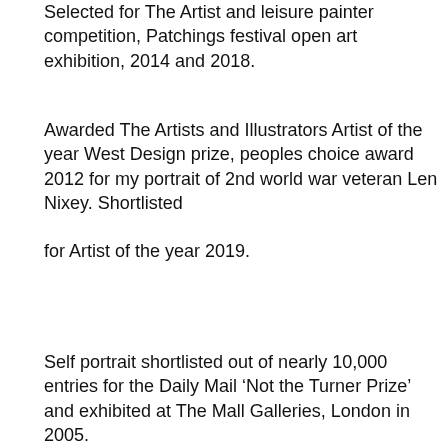Selected for The Artist and leisure painter competition, Patchings festival open art exhibition, 2014 and 2018.
Awarded The Artists and Illustrators Artist of the year West Design prize, peoples choice award 2012 for my portrait of 2nd world war veteran Len Nixey. Shortlisted for Artist of the year 2019.
Self portrait shortlisted out of nearly 10,000 entries for the Daily Mail ‘Not the Turner Prize’ and exhibited at The Mall Galleries, London in 2005.